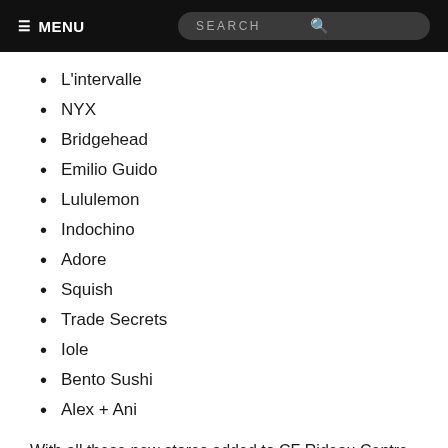≡ MENU  SEARCH
L'intervalle
NYX
Bridgehead
Emilio Guido
Lululemon
Indochino
Adore
Squish
Trade Secrets
Iole
Bento Sushi
Alex + Ani
With all these new stores added to CF Rideau Centre, it has once again become THE MALL, that bares it all! Personally, I am excited to add more L'intervalle footwear to my collection, and hope to get reacquainted with Anthropologie and Simons.